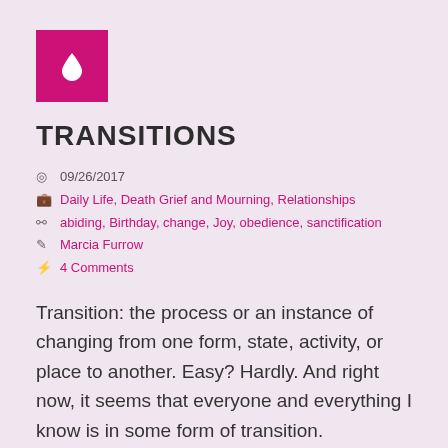[Figure (logo): Pink/magenta square with white water drop icon]
TRANSITIONS
09/26/2017
Daily Life, Death Grief and Mourning, Relationships
abiding, Birthday, change, Joy, obedience, sanctification
Marcia Furrow
4 Comments
Transition: the process or an instance of changing from one form, state, activity, or place to another. Easy? Hardly. And right now, it seems that everyone and everything I know is in some form of transition.
The country – what is happening to us? How